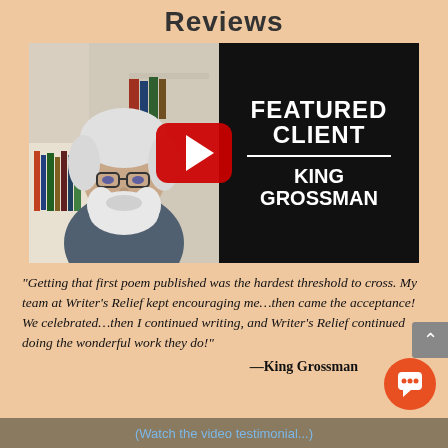Reviews
[Figure (photo): Video thumbnail showing an older man with white hair and beard, glasses, sitting in front of a bookshelf. Right half of thumbnail has black background with white bold text reading FEATURED CLIENT KING GROSSMAN, with a YouTube play button overlay in the center.]
“Getting that first poem published was the hardest threshold to cross. My team at Writer’s Relief kept encouraging me…then came the acceptance! We celebrated…then I continued writing, and Writer’s Relief continued doing the wonderful work they do!”
—King Grossman
(Watch the video testimonial...)